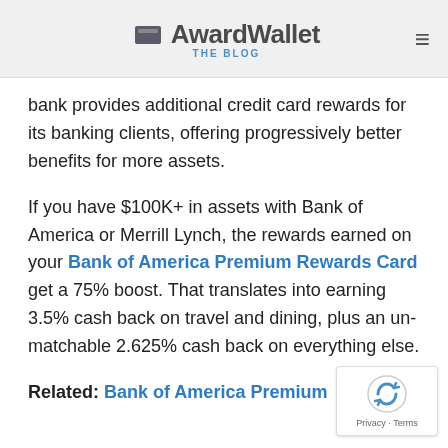AwardWallet THE BLOG
bank provides additional credit card rewards for its banking clients, offering progressively better benefits for more assets.
If you have $100K+ in assets with Bank of America or Merrill Lynch, the rewards earned on your Bank of America Premium Rewards Card get a 75% boost. That translates into earning 3.5% cash back on travel and dining, plus an un-matchable 2.625% cash back on everything else.
Related: Bank of America Premium